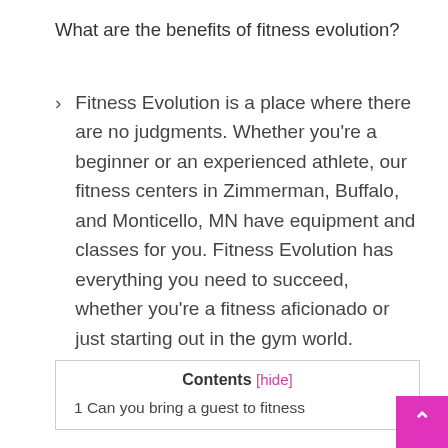What are the benefits of fitness evolution?
Fitness Evolution is a place where there are no judgments. Whether you’re a beginner or an experienced athlete, our fitness centers in Zimmerman, Buffalo, and Monticello, MN have equipment and classes for you. Fitness Evolution has everything you need to succeed, whether you’re a fitness aficionado or just starting out in the gym world.
| Contents |
| --- |
| 1 Can you bring a guest to fitness |
[hide]